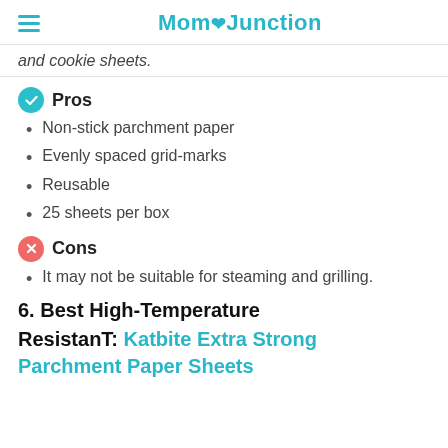MomJunction
and cookie sheets.
Pros
Non-stick parchment paper
Evenly spaced grid-marks
Reusable
25 sheets per box
Cons
It may not be suitable for steaming and grilling.
6. Best High-Temperature
ResistanT: Katbite Extra Strong Parchment Paper Sheets